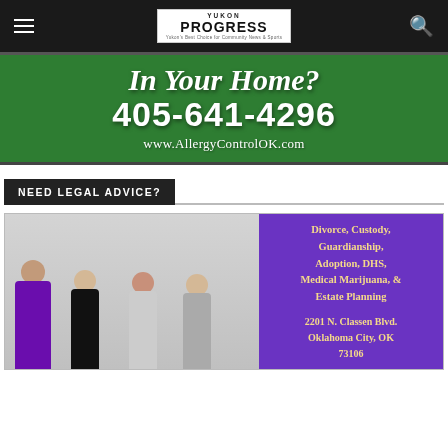Yukon Progress — navigation bar with hamburger menu and search icon
[Figure (illustration): Green advertisement banner: 'In Your Home? 405-641-4296 www.AllergyControlOK.com']
NEED LEGAL ADVICE?
[Figure (photo): Advertisement for a law firm featuring four women in professional attire on left, and text on purple background on right listing: Divorce, Custody, Guardianship, Adoption, DHS, Medical Marijuana, & Estate Planning. Address: 2201 N. Classen Blvd. Oklahoma City, OK 73106]